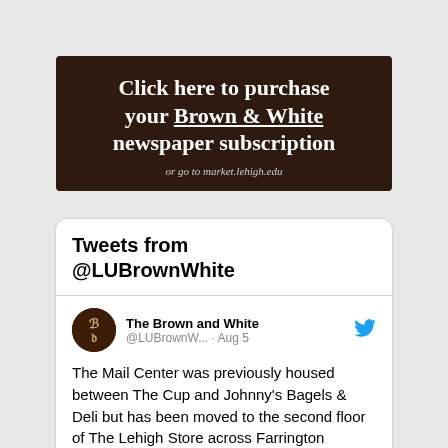[Figure (infographic): Dark brown advertisement banner: 'Click here to purchase your Brown & White newspaper subscription or go to market.lehigh.edu']
Tweets from @LUBrownWhite
The Brown and White @LUBrownW... · Aug 5
The Mail Center was previously housed between The Cup and Johnny's Bagels & Deli but has been moved to the second floor of The Lehigh Store across Farrington Square.